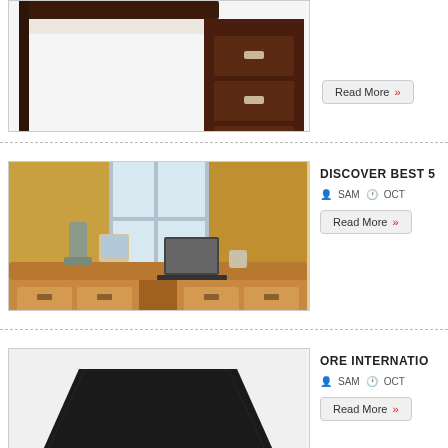[Figure (photo): Dark wood executive desk with drawers, partial view, white/light background]
Read More »
[Figure (photo): Oak executive desk with multiple drawers, laptop and decorative items on top, warm yellow-wall room setting]
DISCOVER BEST 5
SAM  OCT
Read More »
[Figure (photo): Black modern table lamp with wide trapezoidal shade on dark base]
ORE INTERNATIO
SAM  OCT
Read More »